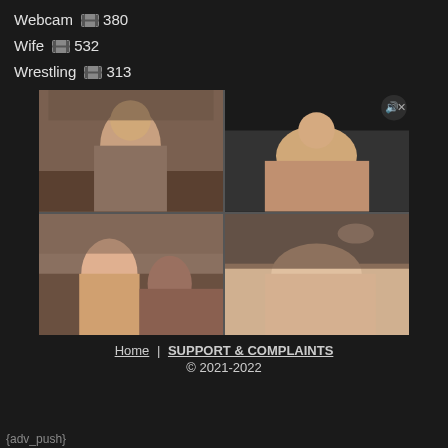Webcam 🎬 380
Wife 🎬 532
Wrestling 🎬 313
[Figure (photo): 2x2 grid of explicit adult content thumbnails]
Home | SUPPORT & COMPLAINTS
© 2021-2022
{adv_push}